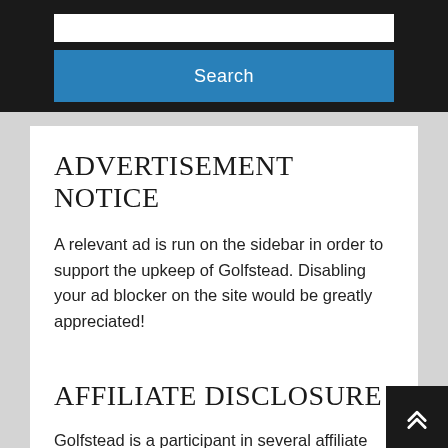[Figure (screenshot): Search widget with white input box and blue Search button on dark background]
ADVERTISEMENT NOTICE
A relevant ad is run on the sidebar in order to support the upkeep of Golfstead. Disabling your ad blocker on the site would be greatly appreciated!
AFFILIATE DISCLOSURE
Golfstead is a participant in several affiliate programs and earns from qualifying purchases through affiliate